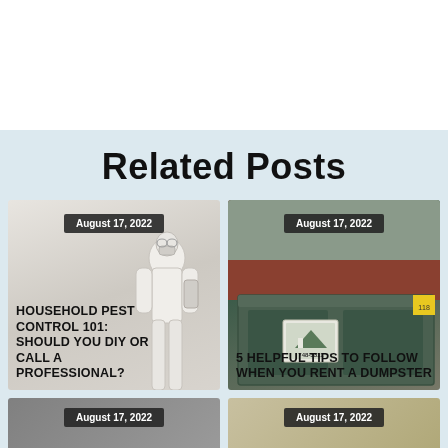Related Posts
[Figure (photo): Person in white protective hazmat suit and mask — pest control professional]
August 17, 2022
HOUSEHOLD PEST CONTROL 101: SHOULD YOU DIY OR CALL A PROFESSIONAL?
[Figure (photo): Green metal dumpster container photographed from outside]
August 17, 2022
5 HELPFUL TIPS TO FOLLOW WHEN YOU RENT A DUMPSTER
[Figure (photo): Partial card — gray background]
August 17, 2022
[Figure (photo): Partial card — warm tan background]
August 17, 2022